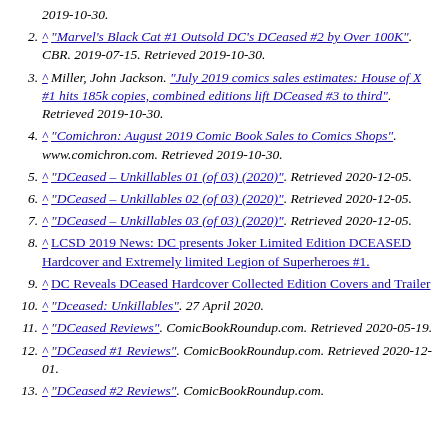^ "Marvel's Black Cat #1 Outsold DC's DCeased #2 by Over 100K". CBR. 2019-07-15. Retrieved 2019-10-30.
^ Miller, John Jackson. "July 2019 comics sales estimates: House of X #1 hits 185k copies, combined editions lift DCeased #3 to third". Retrieved 2019-10-30.
^ "Comichron: August 2019 Comic Book Sales to Comics Shops". www.comichron.com. Retrieved 2019-10-30.
^ "DCeased – Unkillables 01 (of 03) (2020)". Retrieved 2020-12-05.
^ "DCeased – Unkillables 02 (of 03) (2020)". Retrieved 2020-12-05.
^ "DCeased – Unkillables 03 (of 03) (2020)". Retrieved 2020-12-05.
^ LCSD 2019 News: DC presents Joker Limited Edition DCEASED Hardcover and Extremely limited Legion of Superheroes #1.
^ DC Reveals DCeased Hardcover Collected Edition Covers and Trailer
^ "Dceased: Unkillables". 27 April 2020.
^ "DCeased Reviews". ComicBookRoundup.com. Retrieved 2020-05-19.
^ "DCeased #1 Reviews". ComicBookRoundup.com. Retrieved 2020-12-01.
^ "DCeased #2 Reviews". ComicBookRoundup.com.